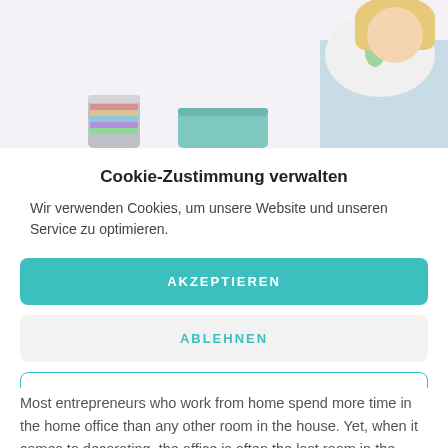[Figure (photo): Partial photo of a woman with blonde hair wearing a white t-shirt with plant print, sitting, with some colorful containers/books in the foreground. Background is light pinkish-white.]
Cookie-Zustimmung verwalten
Wir verwenden Cookies, um unsere Website und unseren Service zu optimieren.
AKZEPTIEREN
ABLEHNEN
VORLIEBEN
Most entrepreneurs who work from home spend more time in the home office than any other room in the house. Yet, when it comes to decorating, the office is often the last room in the house to receive any attention. Whether your spare bedroom doubles as an...